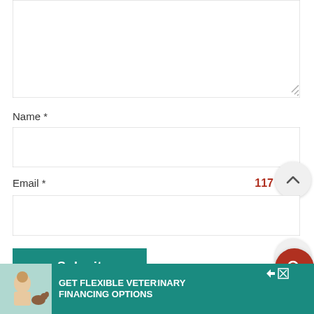[Figure (screenshot): A web form textarea (empty, white background with border) at the top of the page, partially visible, with a resize handle in the bottom-right corner.]
Name *
[Figure (screenshot): An empty text input field for Name with a light gray border.]
[Figure (screenshot): A circular scroll-up button (chevron up icon) on the right side.]
Email *
117
[Figure (screenshot): An empty text input field for Email with a light gray border.]
[Figure (screenshot): A circular heart/like button on the right side.]
[Figure (screenshot): A circular red search button (magnifying glass icon) on the right side.]
[Figure (screenshot): A teal Submit button.]
[Figure (screenshot): An advertisement banner at the bottom: 'GET FLEXIBLE VETERINARY FINANCING OPTIONS' on a teal background with a photo of a woman and a dog.]